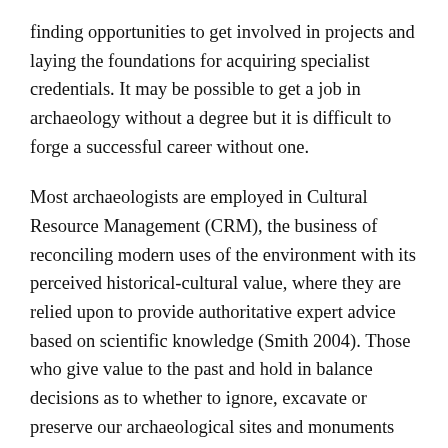finding opportunities to get involved in projects and laying the foundations for acquiring specialist credentials. It may be possible to get a job in archaeology without a degree but it is difficult to forge a successful career without one.
Most archaeologists are employed in Cultural Resource Management (CRM), the business of reconciling modern uses of the environment with its perceived historical-cultural value, where they are relied upon to provide authoritative expert advice based on scientific knowledge (Smith 2004). Those who give value to the past and hold in balance decisions as to whether to ignore, excavate or preserve our archaeological sites and monuments are made credible as experts by their academic qualifications. A degree is necessary, at the very least, if an archaeologist is to be taken seriously by non-archaeologists. It is therefore